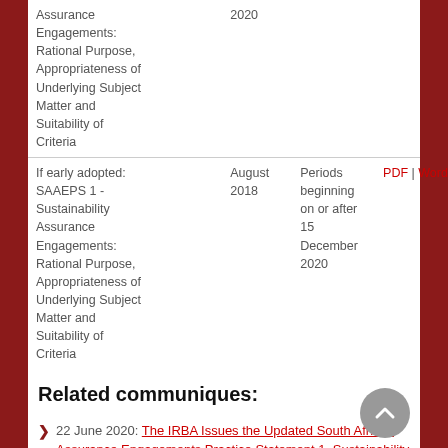| Name | Date | Effective Period | Links |
| --- | --- | --- | --- |
| Assurance Engagements: Rational Purpose, Appropriateness of Underlying Subject Matter and Suitability of Criteria | 2020 |  |  |
| If early adopted: SAAEPS 1 - Sustainability Assurance Engagements: Rational Purpose, Appropriateness of Underlying Subject Matter and Suitability of Criteria | August 2018 | Periods beginning on or after 15 December 2020 | PDF | Word |
Related communiques:
22 June 2020: The IRBA Issues the Updated South African Assurance Engagements Practice Statement 1, Sustainability